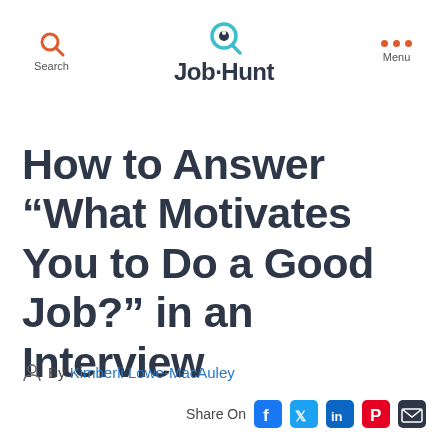Search  Job·Hunt  Menu
How to Answer “What Motivates You to Do a Good Job?” in an Interview
By Kimberli Lowe-MacAuley
Share On